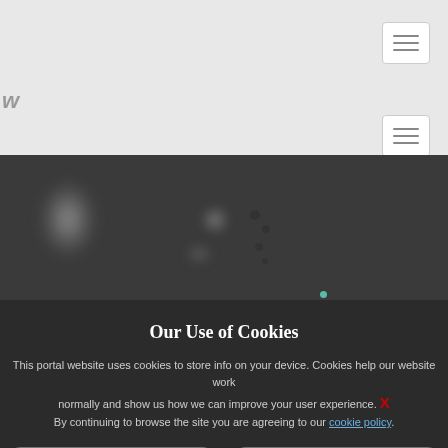[Figure (screenshot): Navigation bar with hamburger menu button on gray background, logo letter W on left, second hamburger menu button below]
[Figure (photo): Dark blurred background image with bokeh light effects, showing blurry white shapes and dots on dark gray background]
Our Use of Cookies
This portal website uses cookies to store info on your device. Cookies help our website work normally and show us how we can improve your user experience. X By continuing to browse the site you are agreeing to our cookie policy.
Manage Cookie Preference
Use Essential Cookie